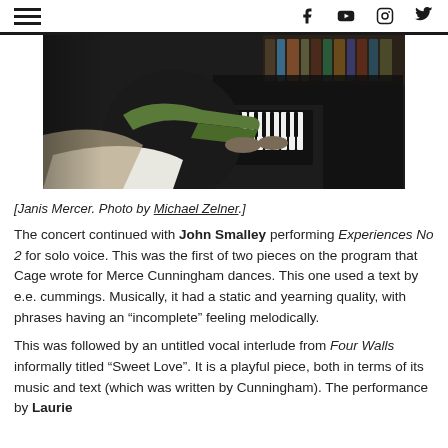[Figure (photo): A person playing a grand piano, wearing a dark top and green sleeves, viewed from the side. Bookshelves and furnishings visible in the background.]
[Janis Mercer. Photo by Michael Zelner.]
The concert continued with John Smalley performing Experiences No 2 for solo voice. This was the first of two pieces on the program that Cage wrote for Merce Cunningham dances. This one used a text by e.e. cummings. Musically, it had a static and yearning quality, with phrases having an “incomplete” feeling melodically.
This was followed by an untitled vocal interlude from Four Walls informally titled “Sweet Love”. It is a playful piece, both in terms of its music and text (which was written by Cunningham). The performance by Laurie